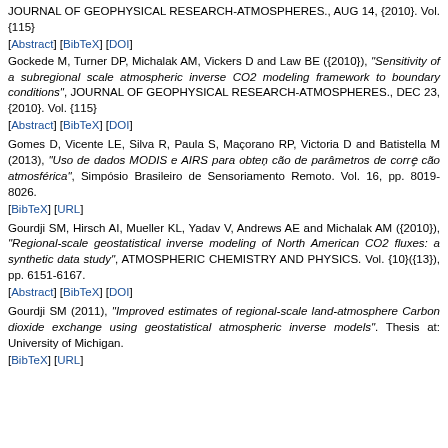JOURNAL OF GEOPHYSICAL RESEARCH-ATMOSPHERES., AUG 14, {2010}. Vol. {115}
[Abstract] [BibTeX] [DOI]
Gockede M, Turner DP, Michalak AM, Vickers D and Law BE ({2010}), "Sensitivity of a subregional scale atmospheric inverse CO2 modeling framework to boundary conditions", JOURNAL OF GEOPHYSICAL RESEARCH-ATMOSPHERES., DEC 23, {2010}. Vol. {115}
[Abstract] [BibTeX] [DOI]
Gomes D, Vicente LE, Silva R, Paula S, Maçorano RP, Victoria D and Batistella M (2013), "Uso de dados MODIS e AIRS para obten¸cão de parâmetros de corre¸cão atmosférica", Simpósio Brasileiro de Sensoriamento Remoto. Vol. 16, pp. 8019-8026.
[BibTeX] [URL]
Gourdji SM, Hirsch AI, Mueller KL, Yadav V, Andrews AE and Michalak AM ({2010}), "Regional-scale geostatistical inverse modeling of North American CO2 fluxes: a synthetic data study", ATMOSPHERIC CHEMISTRY AND PHYSICS. Vol. {10}({13}), pp. 6151-6167.
[Abstract] [BibTeX] [DOI]
Gourdji SM (2011), "Improved estimates of regional-scale land-atmosphere Carbon dioxide exchange using geostatistical atmospheric inverse models". Thesis at: University of Michigan.
[BibTeX] [URL]